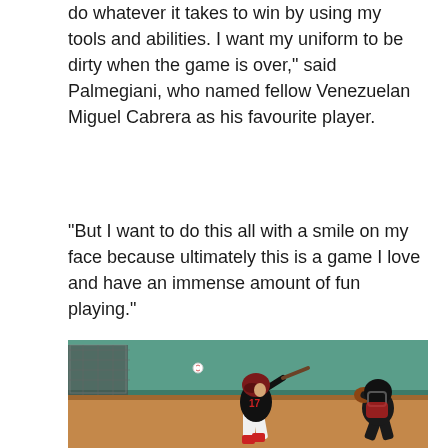do whatever it takes to win by using my tools and abilities. I want my uniform to be dirty when the game is over," said Palmegiani, who named fellow Venezuelan Miguel Cabrera as his favourite player.
“But I want to do this all with a smile on my face because ultimately this is a game I love and have an immense amount of fun playing.”
[Figure (photo): A baseball batter wearing jersey number 17 in a black uniform with red accents and a dark red helmet, mid-swing at home plate. A catcher in dark gear squats behind home plate. The background shows a teal/green outfield wall and a sunny sky.]